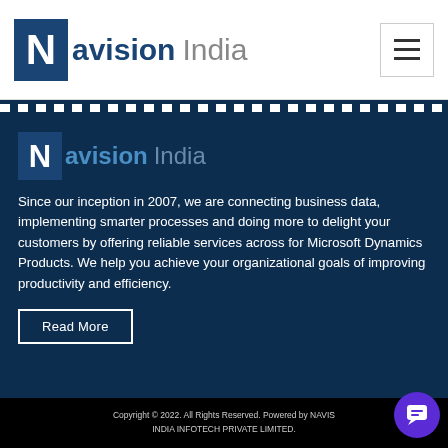[Figure (logo): Navision India logo with dark blue N box and text]
Navision India
Since our inception in 2007, we are connecting business data, implementing smarter processes and doing more to delight your customers by offering reliable services across for Microsoft Dynamics Products. We help you achieve your organizational goals of improving productivity and efficiency.
Copyright © 2022. All Rights Reserved. Powered by NAVISION INDIA INFOTECH PRIVATE LIMITED.